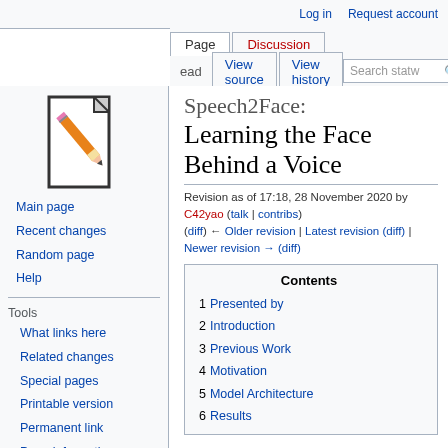Log in | Request account
Page | Discussion | Read | View source | View history | Search statw
[Figure (logo): Wikipedia-style wiki logo: a document page with a pencil drawn over it]
Main page
Recent changes
Random page
Help
Tools
What links here
Related changes
Special pages
Printable version
Permanent link
Page information
Speech2Face: Learning the Face Behind a Voice
Revision as of 17:18, 28 November 2020 by C42yao (talk | contribs)
(diff) ← Older revision | Latest revision (diff) | Newer revision → (diff)
| Contents |
| --- |
| 1 Presented by |
| 2 Introduction |
| 3 Previous Work |
| 4 Motivation |
| 5 Model Architecture |
| 6 Results |